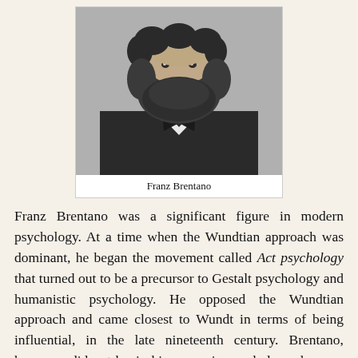[Figure (photo): Black and white portrait photograph of Franz Brentano, showing his face and upper body with a large beard, wearing a suit with white collar and bow tie.]
Franz Brentano
Franz Brentano was a significant figure in modern psychology. At a time when the Wundtian approach was dominant, he began the movement called Act psychology that turned out to be a precursor to Gestalt psychology and humanistic psychology. He opposed the Wundtian approach and came closest to Wundt in terms of being influential, in the late nineteenth century. Brentano, however, did not begin his career in psychology; he was, initially, not a psychologist.